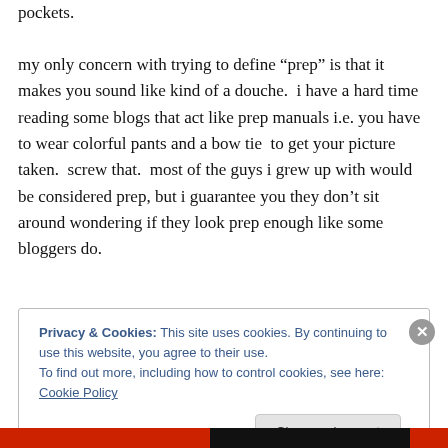pockets.
my only concern with trying to define “prep” is that it makes you sound like kind of a douche.  i have a hard time reading some blogs that act like prep manuals i.e. you have to wear colorful pants and a bow tie  to get your picture taken.  screw that.  most of the guys i grew up with would be considered prep, but i guarantee you they don’t sit around wondering if they look prep enough like some bloggers do.
Privacy & Cookies: This site uses cookies. By continuing to use this website, you agree to their use.
To find out more, including how to control cookies, see here: Cookie Policy
Close and accept